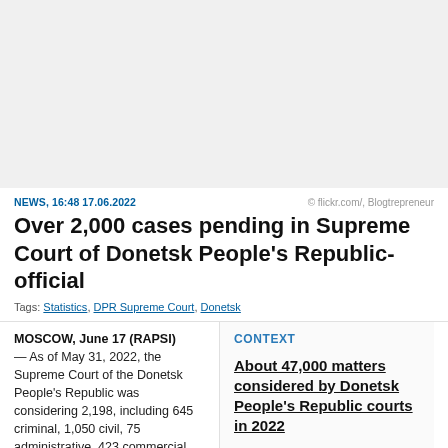[Figure (photo): Light gray placeholder image area at top of page]
NEWS, 16:48 17.06.2022   © flickr.com/, Blogtrepreneur
Over 2,000 cases pending in Supreme Court of Donetsk People's Republic- official
Tags: Statistics, DPR Supreme Court, Donetsk
MOSCOW, June 17 (RAPSI) — As of May 31, 2022, the Supreme Court of the Donetsk People's Republic was considering 2,198, including 645 criminal, 1,050 civil, 75 administrative, 423 commercial and 5 cases on administrative
CONTEXT
About 47,000 matters considered by Donetsk People's Republic courts in 2022